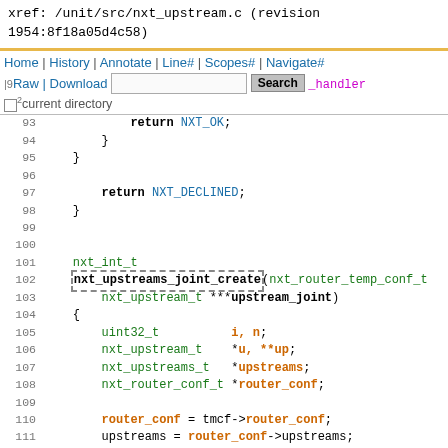xref: /unit/src/nxt_upstream.c (revision 1954:8f18a05d4c58)
Home | History | Annotate | Line# | Scopes# | Navigate#
|9Raw | Download  [search box] Search _handler
02 current directory
Code listing lines 93-115 of nxt_upstream.c